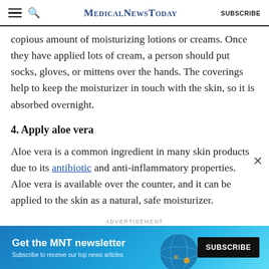MedicalNewsToday SUBSCRIBE
copious amount of moisturizing lotions or creams. Once they have applied lots of cream, a person should put socks, gloves, or mittens over the hands. The coverings help to keep the moisturizer in touch with the skin, so it is absorbed overnight.
4. Apply aloe vera
Aloe vera is a common ingredient in many skin products due to its antibiotic and anti-inflammatory properties. Aloe vera is available over the counter, and it can be applied to the skin as a natural, safe moisturizer.
ADVERTISEMENT
[Figure (infographic): MNT newsletter subscription banner ad with teal/blue background, globe graphic, text 'Get the MNT newsletter' and 'Subscribe to receive our top news articles', and a black SUBSCRIBE button.]